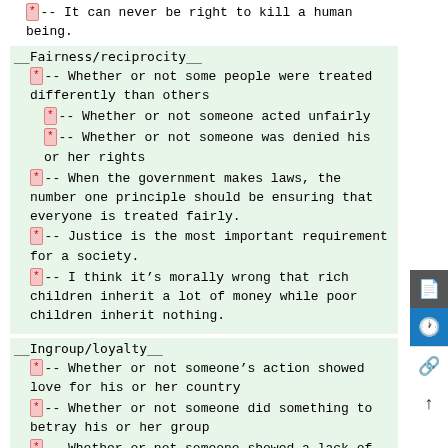*-- It can never be right to kill a human being.
__Fairness/reciprocity__
*-- Whether or not some people were treated differently than others
*-- Whether or not someone acted unfairly
*-- Whether or not someone was denied his or her rights
*-- When the government makes laws, the number one principle should be ensuring that everyone is treated fairly.
*-- Justice is the most important requirement for a society.
*-- I think it's morally wrong that rich children inherit a lot of money while poor children inherit nothing.
__Ingroup/loyalty__
*-- Whether or not someone's action showed love for his or her country
*-- Whether or not someone did something to betray his or her group
*-- Whether or not someone showed a lack of loyalty
*-- I am proud of my country's history.
*-- People should be loyal to their family...